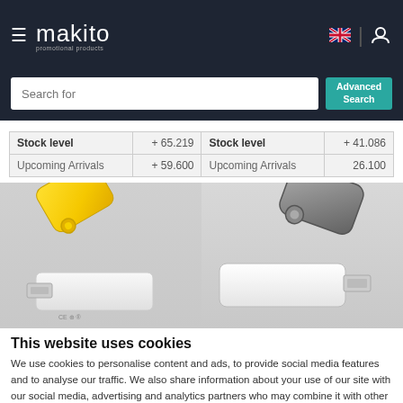makito — promotional products
|  |  |
| --- | --- |
| Stock level | + 65.219 | Stock level | + 41.086 |
| Upcoming Arrivals | + 59.600 | Upcoming Arrivals | 26.100 |
[Figure (photo): Two USB flash drives — one yellow/white swivel USB drive on the left, one silver/white swivel USB drive on the right, both photographed against a light grey background]
This website uses cookies
We use cookies to personalise content and ads, to provide social media features and to analyse our traffic. We also share information about your use of our site with our social media, advertising and analytics partners who may combine it with other information that you've provided to them or that they've